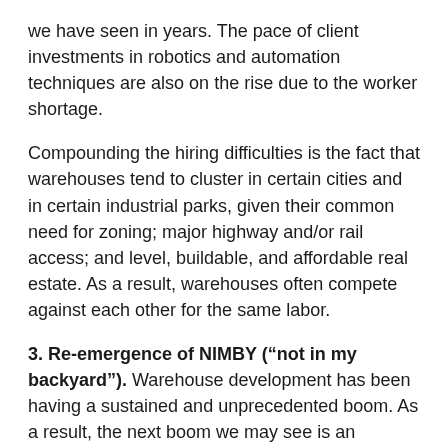we have seen in years. The pace of client investments in robotics and automation techniques are also on the rise due to the worker shortage.
Compounding the hiring difficulties is the fact that warehouses tend to cluster in certain cities and in certain industrial parks, given their common need for zoning; major highway and/or rail access; and level, buildable, and affordable real estate. As a result, warehouses often compete against each other for the same labor.
3. Re-emergence of NIMBY (“not in my backyard”). Warehouse development has been having a sustained and unprecedented boom. As a result, the next boom we may see is an increase in regulation, spurred by anti-growth critics and watch dogs of the industry.
In trend-setting California, the governing board of the South Coast Air Quality Management District—the air pollution